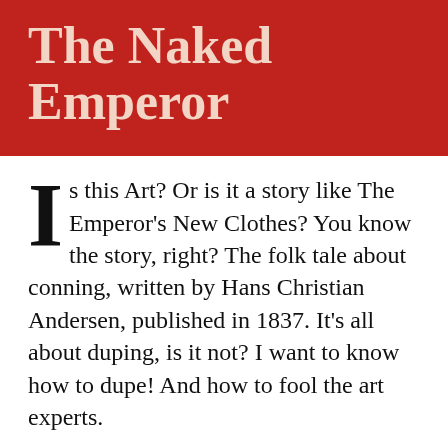The Naked Emperor
Is this Art? Or is it a story like The Emperor's New Clothes? You know the story, right? The folk tale about conning, written by Hans Christian Andersen, published in 1837. It's all about duping, is it not? I want to know how to dupe! And how to fool the art experts.
Please tell me how the greatest art galleries in the land can believe a rag hanging from a nail is an outstanding work of Art? The Tate Gallery